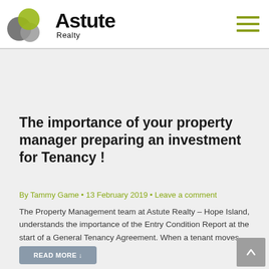[Figure (logo): Astute Realty logo with three overlapping circles (gray, dark gray, green) and bold text 'Astute Realty']
The importance of your property manager preparing an investment for Tenancy !
By Tammy Game • 13 February 2019 • Leave a comment
The Property Management team at Astute Realty – Hope Island, understands the importance of the Entry Condition Report at the start of a General Tenancy Agreement. When a tenant moves…